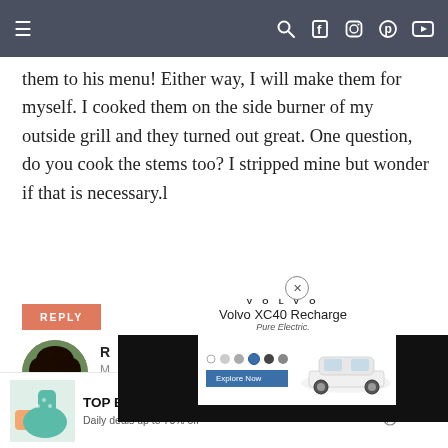Navigation bar with hamburger menu, search, facebook, instagram, pinterest, youtube icons
them to his menu! Either way, I will make them for myself. I cooked them on the side burner of my outside grill and they turned out great. One question, do you cook the stems too? I stripped mine but wonder if that is necessary.l
REPLY
[Figure (screenshot): Volvo XC40 Recharge Pure Electric advertisement overlay with car image and color selector]
[Figure (photo): Author avatar - woman with curly hair]
R
M
Hi Sue! I m
TOP BRANDS & UNIQUE FINDS — Daily deals up to 70% off — SHOP NOW — Zulily